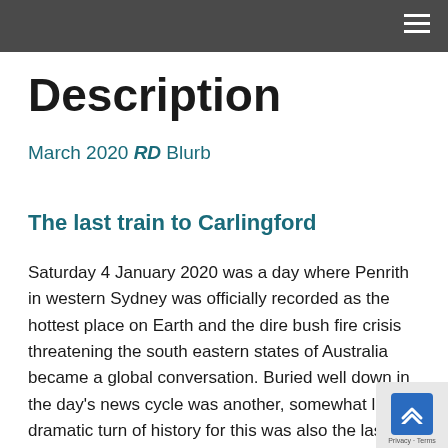Description
March 2020 RD Blurb
The last train to Carlingford
Saturday 4 January 2020 was a day where Penrith in western Sydney was officially recorded as the hottest place on Earth and the dire bush fire crisis threatening the south eastern states of Australia became a global conversation. Buried well down in the day's news cycle was another, somewhat less dramatic turn of history for this was also the last full day of heavy rail passenger operation on the seven-kilometre Carlingford branch line. A large crowd, including Chris W turned out to farewell the branch ahead of its conversion and absorption into the under-